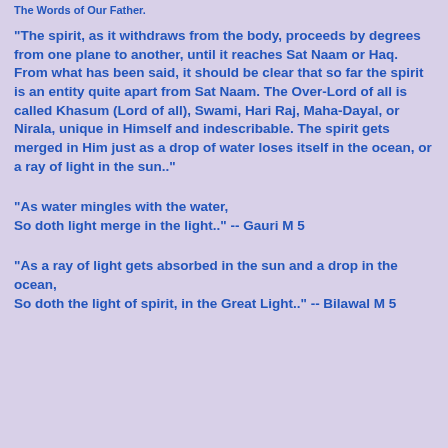The Words of Our Father.
"The spirit, as it withdraws from the body, proceeds by degrees from one plane to another, until it reaches Sat Naam or Haq. From what has been said, it should be clear that so far the spirit is an entity quite apart from Sat Naam. The Over-Lord of all is called Khasum (Lord of all), Swami, Hari Raj, Maha-Dayal, or Nirala, unique in Himself and indescribable. The spirit gets merged in Him just as a drop of water loses itself in the ocean, or a ray of light in the sun.."
"As water mingles with the water,
So doth light merge in the light.." -- Gauri M 5
"As a ray of light gets absorbed in the sun and a drop in the ocean,
So doth the light of spirit, in the Great Light.." -- Bilawal M 5